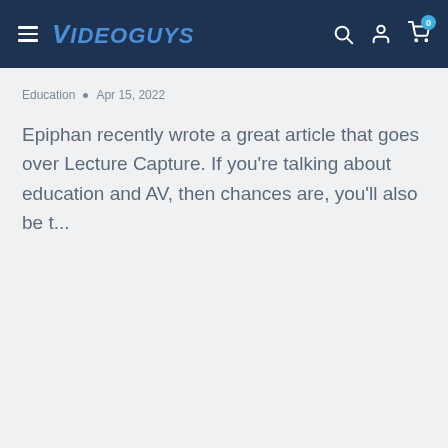Videoguys
Education • Apr 15, 2022
Epiphan recently wrote a great article that goes over Lecture Capture. If you're talking about education and AV, then chances are, you'll also be t...